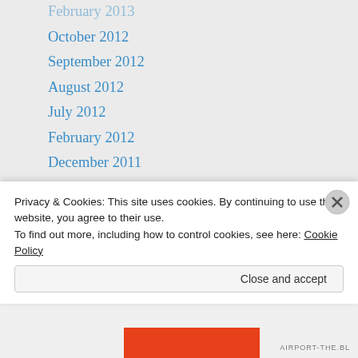February 2013
October 2012
September 2012
August 2012
July 2012
February 2012
December 2011
November 2011
October 2011
September 2011
May 2011
April 2011
March 2011
February 2011
January 2011
Privacy & Cookies: This site uses cookies. By continuing to use this website, you agree to their use.
To find out more, including how to control cookies, see here: Cookie Policy
Close and accept